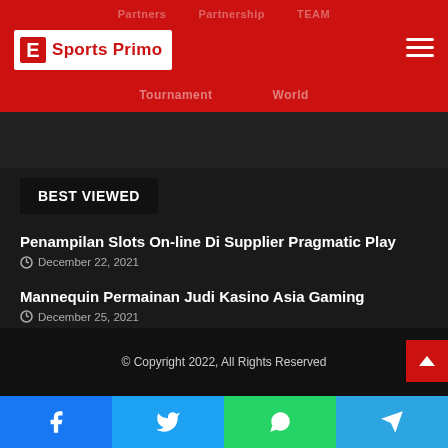E Sports Primo
BEST VIEWED
Penampilan Slots On-line Di Supplier Pragmatic Play
December 22, 2021
Mannequin Permainan Judi Kasino Asia Gaming
December 25, 2021
About Cryptocurrency and the Approach It Works
January 4, 2022
© Copyright 2022, All Rights Reserved